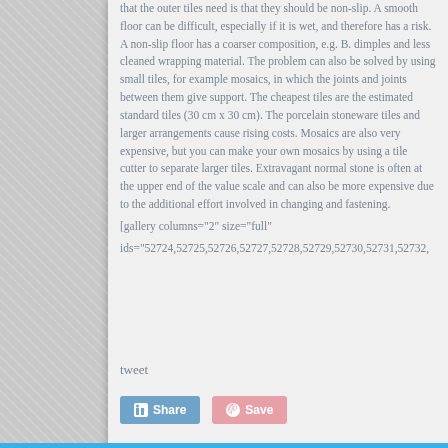that the outer tiles need is that they should be non-slip. A smooth floor can be difficult, especially if it is wet, and therefore has a risk. A non-slip floor has a coarser composition, e.g. B. dimples and less cleaned wrapping material. The problem can also be solved by using small tiles, for example mosaics, in which the joints and joints between them give support. The cheapest tiles are the estimated standard tiles (30 cm x 30 cm). The porcelain stoneware tiles and larger arrangements cause rising costs. Mosaics are also very expensive, but you can make your own mosaics by using a tile cutter to separate larger tiles. Extravagant normal stone is often at the upper end of the value scale and can also be more expensive due to the additional effort involved in changing and fastening.
[gallery columns="2" size="full" ids="52724,52725,52726,52727,52728,52729,52730,52731,52732,...
tweet